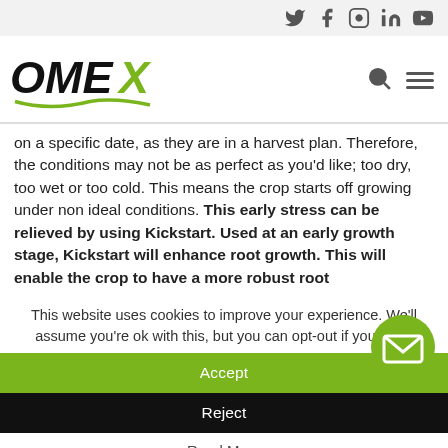OMEX — social icons: Twitter, Facebook, Instagram, LinkedIn, YouTube
[Figure (logo): OMEX logo with green checkmark underline, search icon, hamburger menu]
on a specific date, as they are in a harvest plan. Therefore, the conditions may not be as perfect as you'd like; too dry, too wet or too cold. This means the crop starts off growing under non ideal conditions. This early stress can be relieved by using Kickstart. Used at an early growth stage, Kickstart will enhance root growth. This will enable the crop to have a more robust root
This website uses cookies to improve your experience. We'll assume you're ok with this, but you can opt-out if you wish.
Accept
Reject
Talk to us
Read More